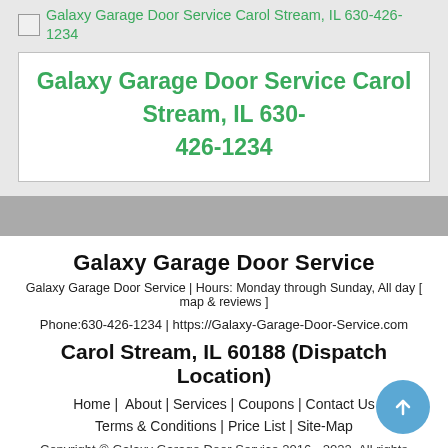[Figure (other): Broken image placeholder with green link text: Galaxy Garage Door Service Carol Stream, IL 630-426-1234]
Galaxy Garage Door Service Carol Stream, IL 630-426-1234
Galaxy Garage Door Service
Galaxy Garage Door Service | Hours: Monday through Sunday, All day [ map & reviews ]
Phone:630-426-1234 | https://Galaxy-Garage-Door-Service.com
Carol Stream, IL 60188 (Dispatch Location)
Home | About | Services | Coupons | Contact Us
Terms & Conditions | Price List | Site-Map
Copyright © Galaxy Garage Door Service 2016 - 2022. All rights reserved